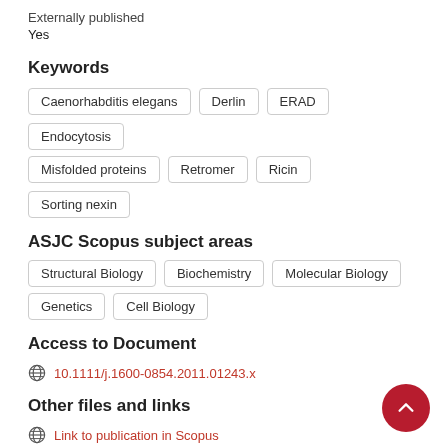Externally published
Yes
Keywords
Caenorhabditis elegans
Derlin
ERAD
Endocytosis
Misfolded proteins
Retromer
Ricin
Sorting nexin
ASJC Scopus subject areas
Structural Biology
Biochemistry
Molecular Biology
Genetics
Cell Biology
Access to Document
10.1111/j.1600-0854.2011.01243.x
Other files and links
Link to publication in Scopus